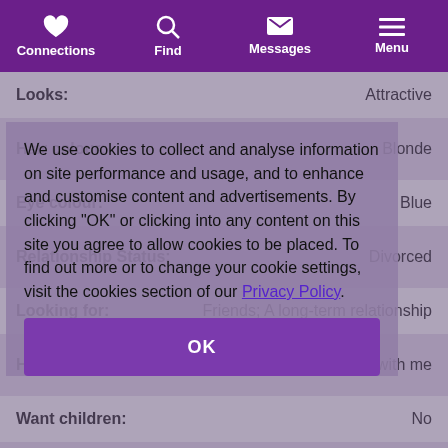Connections | Find | Messages | Menu
| Field | Value |
| --- | --- |
| Looks: | Attractive |
| Hair colour: | Blonde |
| Eye colour: | Blue |
| Relationship Status: | Divorced |
| Looking for: | Friends; A long-term relationship |
| Have children: | Yes, not living with me |
| Want children: | No |
| Daily diet: | Eat most things |
We use cookies to collect and analyse information on site performance and usage, and to enhance and customise content and advertisements. By clicking "OK" or clicking into any content on this site you agree to allow cookies to be placed. To find out more or to change your cookie settings, visit the cookies section of our Privacy Policy.